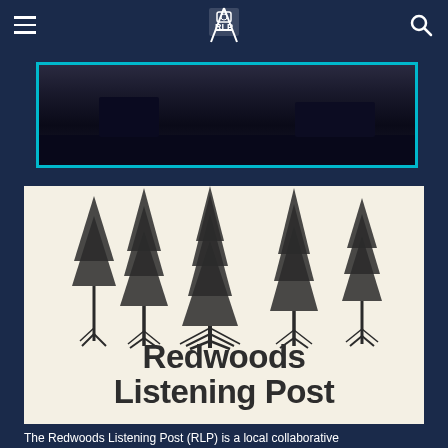Redwoods Listening Post navigation header
[Figure (photo): Partial photo of people at an event, shown behind a teal/cyan bordered frame on a dark navy background.]
[Figure (logo): Redwoods Listening Post logo: five illustrated redwood trees above bold text reading 'Redwoods Listening Post' on a cream/off-white background.]
The Redwoods Listening Post (RLP) is a local collaborative